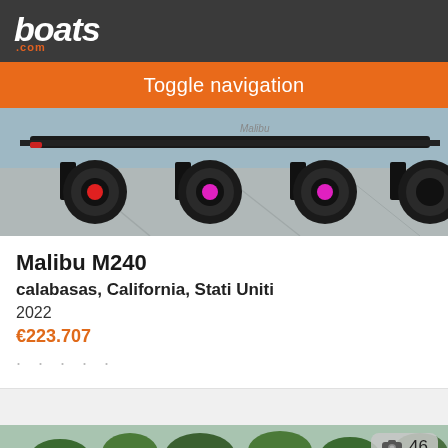boats.com
Toggle navigation
[Figure (photo): Underside view of a boat trailer with multiple black wheels/tires on a paved surface]
Malibu M240
calabasas, California, Stati Uniti
2022
€223.707
[Figure (photo): Partial view of a boat listing with trees and water in background, showing photo count badge of 46]
Ordina Per
Filtra Ricerca